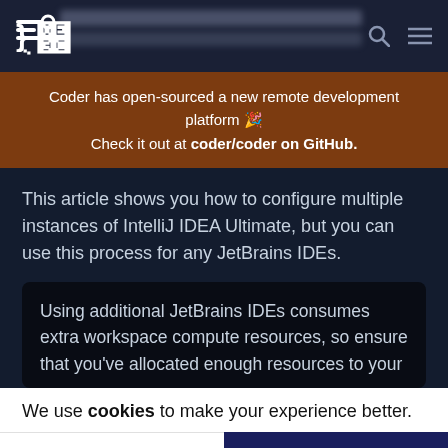Coder logo navigation bar with search and menu icons
Coder has open-sourced a new remote development platform 🎉 Check it out at coder/coder on GitHub.
This article shows you how to configure multiple instances of IntelliJ IDEA Ultimate, but you can use this process for any JetBrains IDEs.
Using additional JetBrains IDEs consumes extra workspace compute resources, so ensure that you've allocated enough resources to your
We use cookies to make your experience better.
Privacy Policy
OK